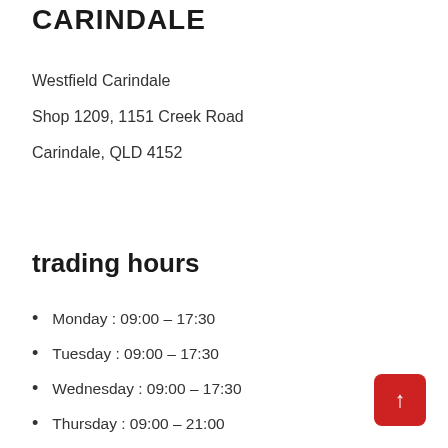CARINDALE
Westfield Carindale
Shop 1209, 1151 Creek Road
Carindale, QLD 4152
trading hours
Monday : 09:00 – 17:30
Tuesday : 09:00 – 17:30
Wednesday : 09:00 – 17:30
Thursday : 09:00 – 21:00